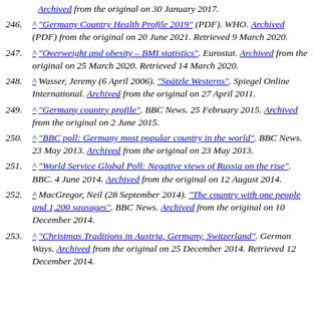[partial top] Archived from the original on 30 January 2017.
246. ^ "Germany Country Health Profile 2019" (PDF). WHO. Archived (PDF) from the original on 20 June 2021. Retrieved 9 March 2020.
247. ^ "Overweight and obesity – BMI statistics". Eurostat. Archived from the original on 25 March 2020. Retrieved 14 March 2020.
248. ^ Wasser, Jeremy (6 April 2006). "Spätzle Westerns". Spiegel Online International. Archived from the original on 27 April 2011.
249. ^ "Germany country profile". BBC News. 25 February 2015. Archived from the original on 2 June 2015.
250. ^ "BBC poll: Germany most popular country in the world". BBC News. 23 May 2013. Archived from the original on 23 May 2013.
251. ^ "World Service Global Poll: Negative views of Russia on the rise". BBC. 4 June 2014. Archived from the original on 12 August 2014.
252. ^ MacGregor, Neil (28 September 2014). "The country with one people and 1,200 sausages". BBC News. Archived from the original on 10 December 2014.
253. ^ "Christmas Traditions in Austria, Germany, Switzerland". German Ways. Archived from the original on 25 December 2014. Retrieved 12 December 2014.